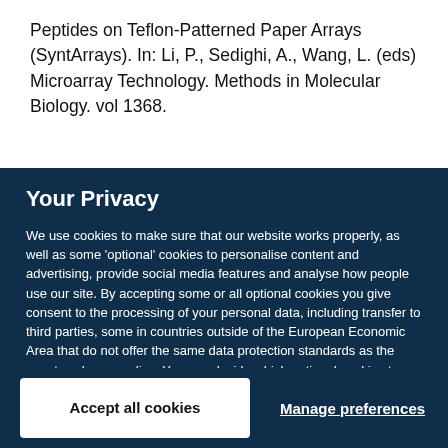Peptides on Teflon-Patterned Paper Arrays (SyntArrays). In: Li, P., Sedighi, A., Wang, L. (eds) Microarray Technology. Methods in Molecular Biology. vol 1368.
Your Privacy
We use cookies to make sure that our website works properly, as well as some 'optional' cookies to personalise content and advertising, provide social media features and analyse how people use our site. By accepting some or all optional cookies you give consent to the processing of your personal data, including transfer to third parties, some in countries outside of the European Economic Area that do not offer the same data protection standards as the country where you live. You can decide which optional cookies to accept by clicking on 'Manage Settings', where you can also find more information about how your personal data is processed. Further information can be found in our privacy policy.
Accept all cookies
Manage preferences